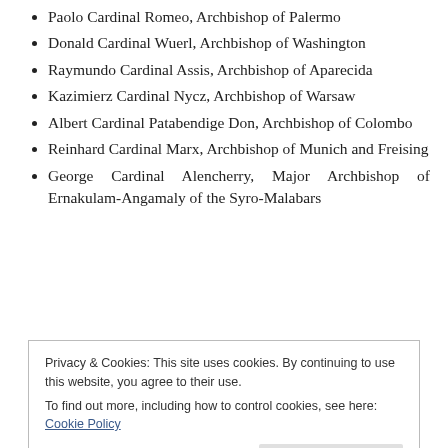Paolo Cardinal Romeo, Archbishop of Palermo
Donald Cardinal Wuerl, Archbishop of Washington
Raymundo Cardinal Assis, Archbishop of Aparecida
Kazimierz Cardinal Nycz, Archbishop of Warsaw
Albert Cardinal Patabendige Don, Archbishop of Colombo
Reinhard Cardinal Marx, Archbishop of Munich and Freising
George Cardinal Alencherry, Major Archbishop of Ernakulam-Angamaly of the Syro-Malabars
Privacy & Cookies: This site uses cookies. By continuing to use this website, you agree to their use.
To find out more, including how to control cookies, see here: Cookie Policy
John Cardinal Tong Hon, Bishop of Hong Kong...